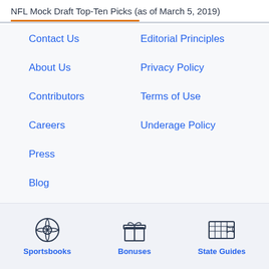NFL Mock Draft Top-Ten Picks (as of March 5, 2019)
Contact Us
Editorial Principles
About Us
Privacy Policy
Contributors
Terms of Use
Careers
Underage Policy
Press
Blog
News
Sitemap
Sportsbooks | Bonuses | State Guides